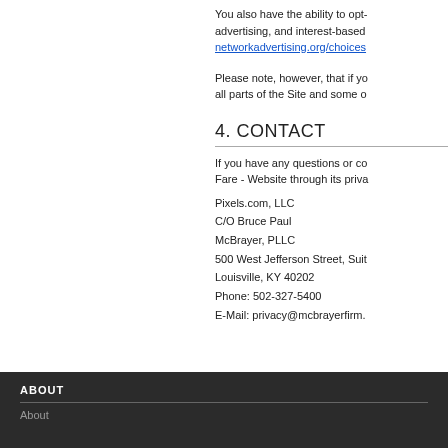You also have the ability to opt- advertising, and interest-based networkadvertising.org/choices
Please note, however, that if yo all parts of the Site and some o
4. CONTACT
If you have any questions or co Fare - Website through its priva
Pixels.com, LLC
C/O Bruce Paul
McBrayer, PLLC
500 West Jefferson Street, Suit
Louisville, KY 40202
Phone: 502-327-5400
E-Mail: privacy@mcbrayerfirm.
ABOUT
About